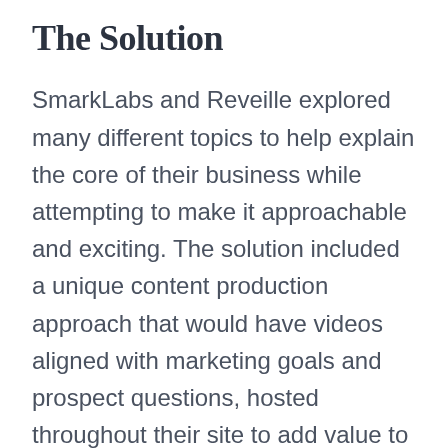The Solution
SmarkLabs and Reveille explored many different topics to help explain the core of their business while attempting to make it approachable and exciting. The solution included a unique content production approach that would have videos aligned with marketing goals and prospect questions, hosted throughout their site to add value to their other resources. The first project was an overall explainer video to help prospects understand the value of adding a solution such as Reveille. This helped them have a sales enabler to engage